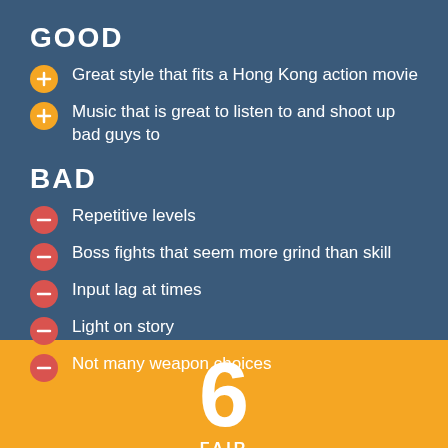GOOD
Great style that fits a Hong Kong action movie
Music that is great to listen to and shoot up bad guys to
BAD
Repetitive levels
Boss fights that seem more grind than skill
Input lag at times
Light on story
Not many weapon choices
6
FAIR